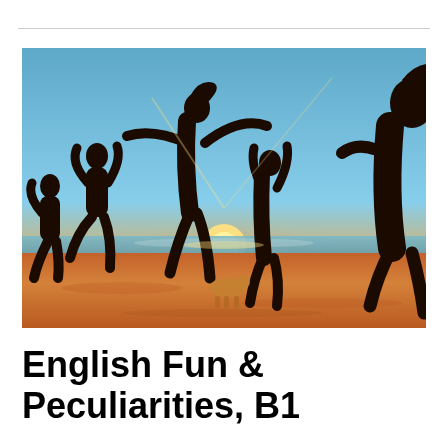[Figure (photo): Silhouettes of young people jumping joyfully on a beach at sunset/sunrise, with warm golden light and a blue sky in the background.]
English Fun & Peculiarities, B1